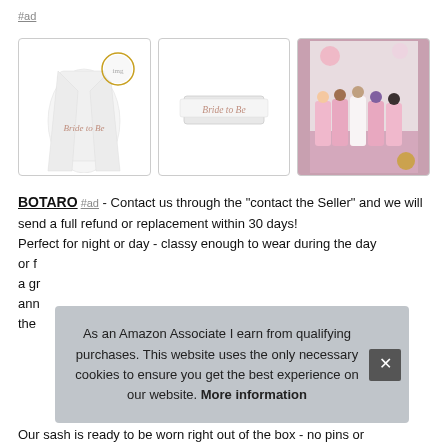#ad
[Figure (photo): Three product photos of a 'Bride to Be' sash: left shows a white robe with rose gold cursive text 'Bride to Be', center shows the sash on its own with a clear display, right shows a group of women in pink robes at a bachelorette party]
BOTARO #ad - Contact us through the "contact the Seller" and we will send a full refund or replacement within 30 days! Perfect for night or day - classy enough to wear during the day or fo... a gr... ann... ther...
As an Amazon Associate I earn from qualifying purchases. This website uses the only necessary cookies to ensure you get the best experience on our website. More information
Our sash is ready to be worn right out of the box - no pins or